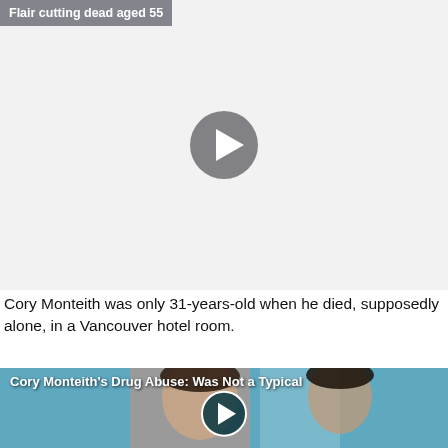[Figure (screenshot): Video thumbnail placeholder with play button and title overlay reading 'Flair cutting dead aged 55']
Cory Monteith was only 31-years-old when he died, supposedly alone, in a Vancouver hotel room.
[Figure (photo): Photo of two men at a Warner Bros event with teal/gray checkered background. Overlay title: Cory Monteith's Drug Abuse: Was Not a Typical. Play button in center.]